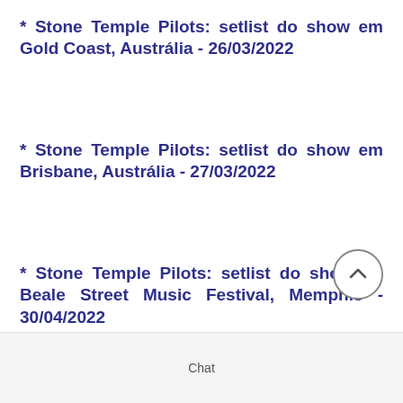* Stone Temple Pilots: setlist do show em Gold Coast, Austrália - 26/03/2022
* Stone Temple Pilots: setlist do show em Brisbane, Austrália - 27/03/2022
* Stone Temple Pilots: setlist do show no Beale Street Music Festival, Memphis - 30/04/2022
Chat